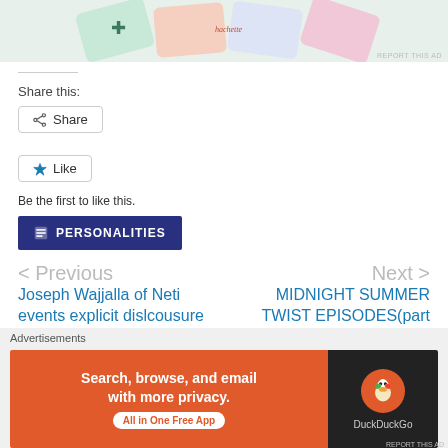[Figure (photo): Partial advertisement image showing colorful credit/gift cards with logos including a medical cross and Hachette brand.]
REPORT THIS AD
Share this:
[Figure (other): Share button with share icon]
[Figure (other): Like button with star icon]
Be the first to like this.
PERSONALITIES
< Previous
Joseph Wajjalla of Neti events explicit dislcousure
Next >
MIDNIGHT SUMMER TWIST EPISODES(part one)
Advertisements
[Figure (other): DuckDuckGo advertisement banner: 'Search, browse, and email with more privacy. All in One Free App' with DuckDuckGo logo on dark background.]